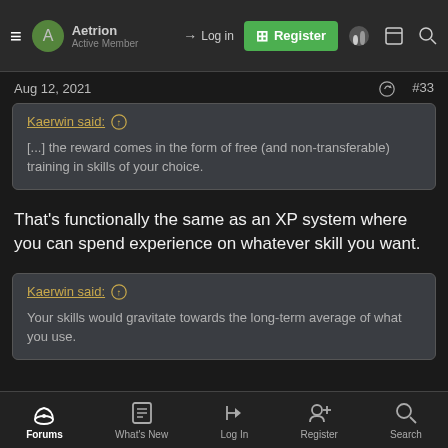Aetrion | Active Member | Log in | Register
Aug 12, 2021   #33
Kaerwin said: ↑  [...] the reward comes in the form of free (and non-transferable) training in skills of your choice.
That's functionally the same as an XP system where you can spend experience on whatever skill you want.
Kaerwin said: ↑  Your skills would gravitate towards the long-term average of what you use.
Forums | What's New | Log In | Register | Search